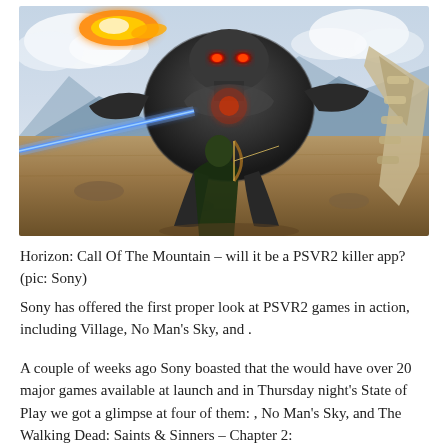[Figure (screenshot): A video game screenshot from Horizon: Call Of The Mountain showing a large robotic creature with red glowing eyes facing a player character, with a blue laser beam, fire explosion, and mountainous background.]
Horizon: Call Of The Mountain – will it be a PSVR2 killer app? (pic: Sony)
Sony has offered the first proper look at PSVR2 games in action, including Village, No Man's Sky, and .
A couple of weeks ago Sony boasted that the would have over 20 major games available at launch and in Thursday night's State of Play we got a glimpse at four of them: , No Man's Sky, and The Walking Dead: Saints & Sinners – Chapter 2: